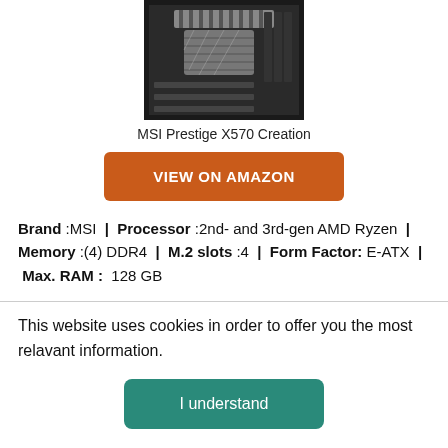[Figure (photo): Photo of MSI Prestige X570 Creation motherboard, top-down view showing heatsinks and PCIe slots]
MSI Prestige X570 Creation
VIEW ON AMAZON
Brand :MSI | Processor :2nd- and 3rd-gen AMD Ryzen | Memory :(4) DDR4 | M.2 slots :4 | Form Factor: E-ATX | Max. RAM : 128 GB
This website uses cookies in order to offer you the most relavant information.
I understand